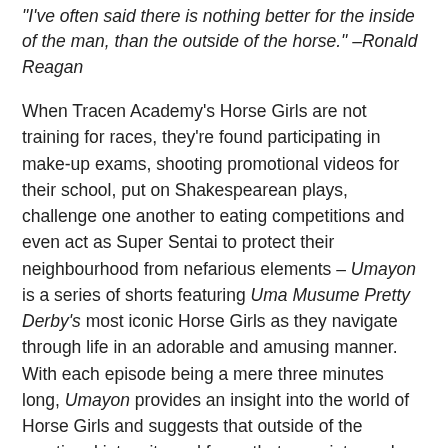"I've often said there is nothing better for the inside of the man, than the outside of the horse." –Ronald Reagan
When Tracen Academy's Horse Girls are not training for races, they're found participating in make-up exams, shooting promotional videos for their school, put on Shakespearean plays, challenge one another to eating competitions and even act as Super Sentai to protect their neighbourhood from nefarious elements – Umayon is a series of shorts featuring Uma Musume Pretty Derby's most iconic Horse Girls as they navigate through life in an adorable and amusing manner. With each episode being a mere three minutes long, Umayon provides an insight into the world of Horse Girls and suggests that outside of the emotional intensity and focus that goes into each race, the Horse Girls themselves also exude a spirit of fun and can work as hard as they play. Umayon thus joins the ranks of